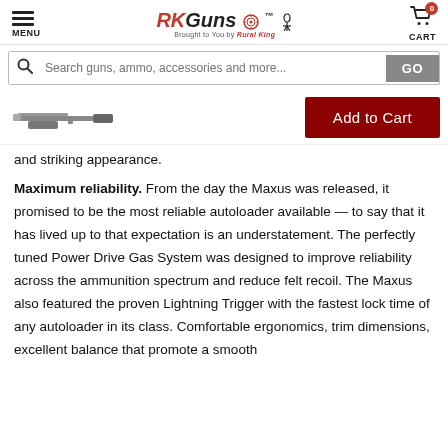MENU | RKGuns Brought to You by Rural King | CART 0
Search guns, ammo, accessories and more...
[Figure (photo): Small thumbnail image of a shotgun/rifle product]
Add to Cart
and striking appearance.
Maximum reliability. From the day the Maxus was released, it promised to be the most reliable autoloader available — to say that it has lived up to that expectation is an understatement. The perfectly tuned Power Drive Gas System was designed to improve reliability across the ammunition spectrum and reduce felt recoil. The Maxus also featured the proven Lightning Trigger with the fastest lock time of any autoloader in its class. Comfortable ergonomics, trim dimensions, excellent balance that promote a smooth